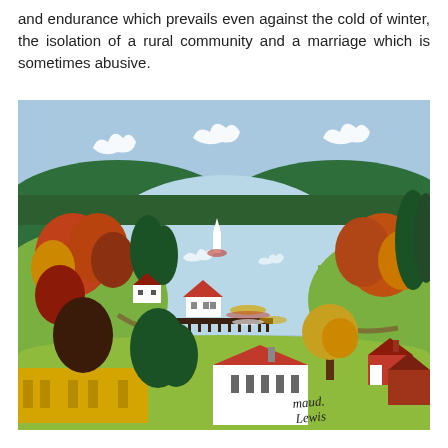and endurance which prevails even against the cold of winter, the isolation of a rural community and a marriage which is sometimes abusive.
[Figure (illustration): A folk art painting by Maud Lewis depicting a rural Nova Scotia landscape with a central lake or bay, small white and red-roofed houses, autumn-coloured trees, a dock, green hills, blue sky with white swirl-shaped clouds, and a green foreground meadow. The artist's signature 'maud. lewis' appears in the lower right corner.]